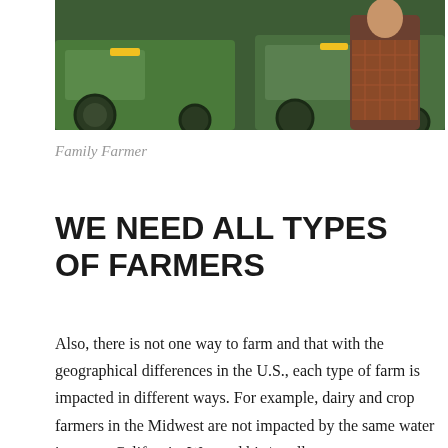[Figure (photo): A man in a plaid shirt standing in front of green John Deere tractors]
Family Farmer
WE NEED ALL TYPES OF FARMERS
Also, there is not one way to farm and that with the geographical differences in the U.S., each type of farm is impacted in different ways. For example, dairy and crop farmers in the Midwest are not impacted by the same water issues as California. We need big/small, conventional/organic. I'd share that on any given